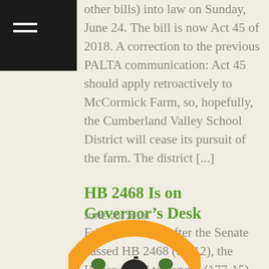other bills) into law on Sunday, June 24. The bill is now Act 45 of 2018. A correction to the previous PALTA communication: Act 45 should apply retroactively to McCormick Farm, so, hopefully, the Cumberland Valley School District will cease its pursuit of the farm. The district [...]
HB 2468 Is on Governor's Desk
JUNE 25, 2018
Friday evening, after the Senate passed HB 2468 (37-12), the House voted to concur (177-15) with the Senate's changes to the bill. The governor is expected to sign the bill. This is a thrilling victory for conservation! This landmark, bipartisan legislation provides a crucial safeguard for conservation easements from the unnecessary exercise of eminent domain [...]
[Figure (logo): Partial view of a circular orange and dark logo with a capitol building silhouette at the bottom]